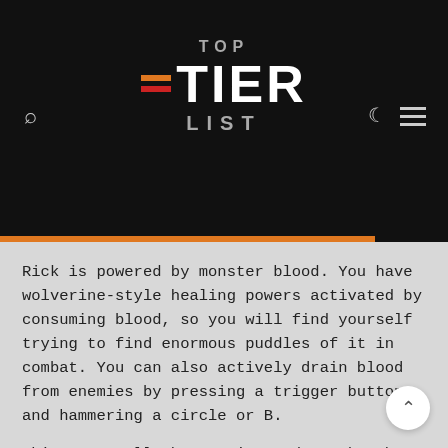[Figure (logo): Top Tier List website logo with orange and red horizontal dashes on black background header]
Rick is powered by monster blood. You have wolverine-style healing powers activated by consuming blood, so you will find yourself trying to find enormous puddles of it in combat. You can also actively drain blood from enemies by pressing a trigger button and hammering a circle or B.
This stops all the enemies and tracks them long enough for you to fully heal yourself the cost of one bar of your meter. If you